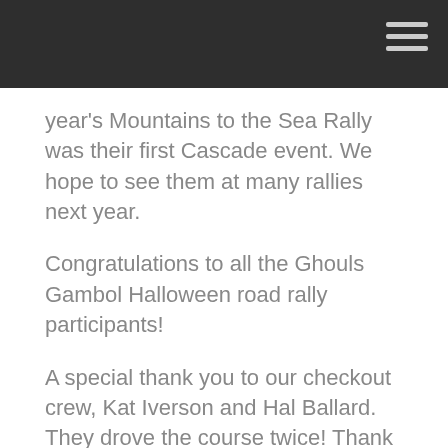year's Mountains to the Sea Rally was their first Cascade event. We hope to see them at many rallies next year.
Congratulations to all the Ghouls Gambol Halloween road rally participants!
A special thank you to our checkout crew, Kat Iverson and Hal Ballard. They drove the course twice! Thank you!